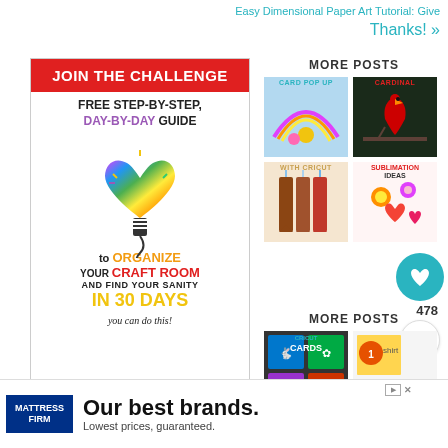Easy Dimensional Paper Art Tutorial: Give Thanks! »
[Figure (illustration): Join the Challenge banner: red header 'JOIN THE CHALLENGE', text 'FREE STEP-BY-STEP, DAY-BY-DAY GUIDE to ORGANIZE YOUR CRAFT ROOM AND FIND YOUR SANITY IN 30 DAYS', colorful heart-bulb illustration, 'you can do this!' cursive text]
First N
Email A
HELP ME!
MORE POSTS
[Figure (photo): Thumbnail image of a card pop-up with rainbow and paper flowers]
CARD POP UP
[Figure (photo): Thumbnail image of a Cardinal stained glass style artwork]
CARDINAL
[Figure (photo): Thumbnail image of bookmarks with Cricut]
WITH CRICUT
[Figure (photo): Thumbnail image of sublimation ideas with flowers and hearts]
SUBLIMATION IDEAS
MORE POSTS
[Figure (photo): Thumbnail of Cricut Cards with colorful card images]
CRICUT CARDS
[Figure (photo): Thumbnail of Cricut How to Make a T-Shirt]
WHAT'S NEXT → How to Make a T-Shirt with ...
[Figure (advertisement): Mattress Firm advertisement: 'Our best brands. Lowest prices, guaranteed.']